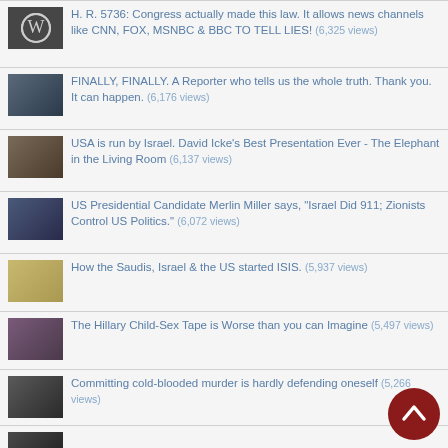H. R. 5736: Congress actually made this law. It allows news channels like CNN, FOX, MSNBC & BBC TO TELL LIES! (6,325 views)
FINALLY, FINALLY. A Reporter who tells us the whole truth. Thank you. It can happen. (6,176 views)
USA is run by Israel. David Icke's Best Presentation Ever - The Elephant in the Living Room (6,137 views)
US Presidential Candidate Merlin Miller says, "Israel Did 911; Zionists Control US Politics." (6,072 views)
How the Saudis, Israel & the US started ISIS. (5,937 views)
The Hillary Child-Sex Tape is Worse than you can Imagine (5,497 views)
Committing cold-blooded murder is hardly defending oneself (5,266 views)
(partially visible item)